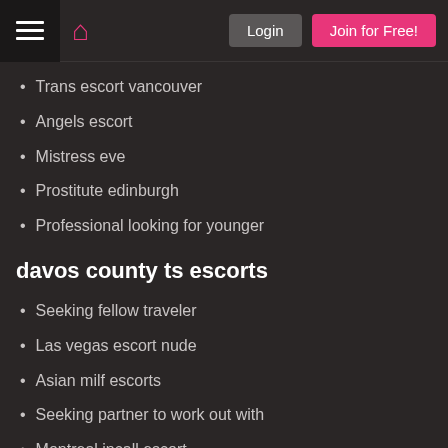Menu | Home | Login | Join for Free!
Trans escort vancouver
Angels escort
Mistress eve
Prostitute edinburgh
Professional looking for younger
davos county ts escorts
Seeking fellow traveler
Las vegas escort nude
Asian milf escorts
Seeking partner to work out with
Montreal incall escort
Married woman seeking nsa post falls
escort driver jobs
Lisburn prostitute site